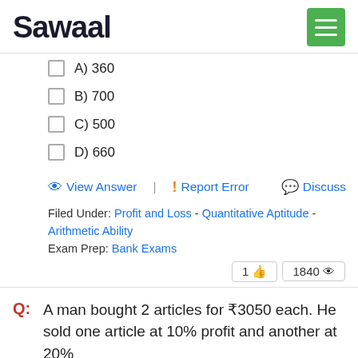Sawaal
A) 360
B) 700
C) 500
D) 660
View Answer   Report Error   Discuss
Filed Under: Profit and Loss - Quantitative Aptitude - Arithmetic Ability
Exam Prep: Bank Exams
1 👍  1840 👁
Q: A man bought 2 articles for ₹3050 each. He sold one article at 10% profit and another at 20%